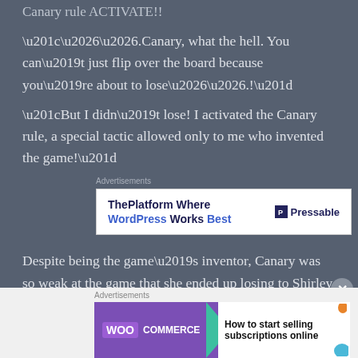Canary rule ACTIVATE!!
“…….Canary, what the hell. You can’t just flip over the board because you’re about to lose…….!”
“But I didn’t lose! I activated the Canary rule, a special tactic allowed only to me who invented the game!”
[Figure (other): Advertisement banner for Pressable - ThePlatform Where WordPress Works Best]
Despite being the game’s inventor, Canary was so weak at the game that she ended up losing to Shirley despite this being her first time ever playing.
[Figure (other): Advertisement banner for WooCommerce - How to start selling subscriptions online]